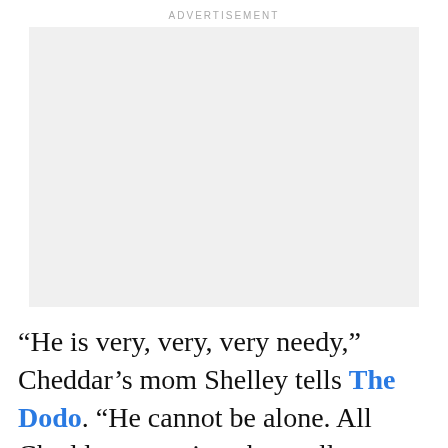ADVERTISEMENT
[Figure (other): Advertisement placeholder box with light gray background]
“He is very, very, very needy,” Cheddar’s mom Shelley tells The Dodo. “He cannot be alone. All Cheddar wants is to have all attention on him —
ADVERTISEMENT